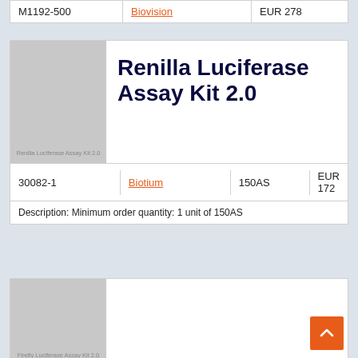| SKU | Supplier | Size | Price |
| --- | --- | --- | --- |
| M1192-500 | Biovision |  | EUR 278 |
[Figure (photo): Product image placeholder for Renilla Luciferase Assay Kit 2.0]
Renilla Luciferase Assay Kit 2.0
| SKU | Supplier | Size | Price |
| --- | --- | --- | --- |
| 30082-1 | Biotium | 150AS | EUR 172 |
Description: Minimum order quantity: 1 unit of 150AS
[Figure (photo): Product image placeholder for Firefly Luciferase Assay Kit 2.0]